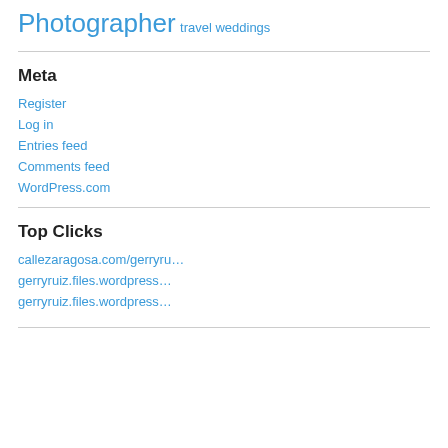Photographer travel weddings
Meta
Register
Log in
Entries feed
Comments feed
WordPress.com
Top Clicks
callezaragosa.com/gerryru…
gerryruiz.files.wordpress…
gerryruiz.files.wordpress…